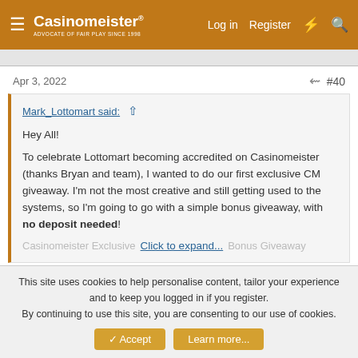Casinomeister® - Advocate of Fair Play since 1998 | Log in | Register
Apr 3, 2022 #40
Mark_Lottomart said: ↑
Hey All!

To celebrate Lottomart becoming accredited on Casinomeister (thanks Bryan and team), I wanted to do our first exclusive CM giveaway. I'm not the most creative and still getting used to the systems, so I'm going to go with a simple bonus giveaway, with no deposit needed!

Casinomeister Exclusive... Click to expand... ...Bonus Giveaway
Hiya my email is abdelnas18@gmail.com for the £10 bonus.
Thanks 😊
This site uses cookies to help personalise content, tailor your experience and to keep you logged in if you register.
By continuing to use this site, you are consenting to our use of cookies.
Accept   Learn more...